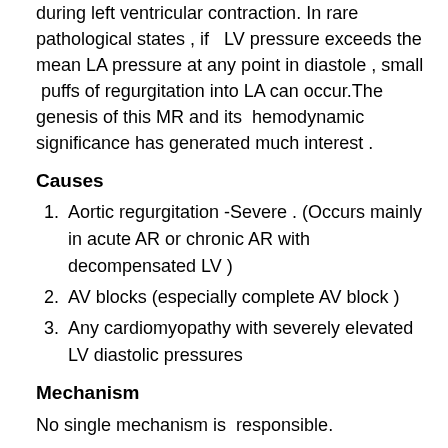during left ventricular contraction. In rare pathological states , if LV pressure exceeds the mean LA pressure at any point in diastole , small puffs of regurgitation into LA can occur.The genesis of this MR and its hemodynamic significance has generated much interest .
Causes
Aortic regurgitation -Severe . (Occurs mainly in acute AR or chronic AR with decompensated LV )
AV blocks (especially complete AV block )
Any cardiomyopathy with severely elevated LV diastolic pressures
Mechanism
No single mechanism is responsible.
Common hemodynamic denominator is transient cross